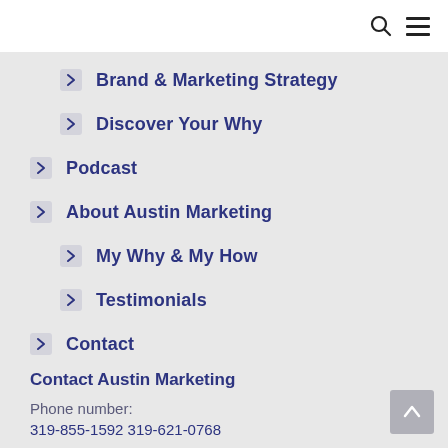navigation header with search and menu icons
Brand & Marketing Strategy
Discover Your Why
Podcast
About Austin Marketing
My Why & My How
Testimonials
Contact
Contact Austin Marketing
Phone number:
319-855-1592 319-621-0768